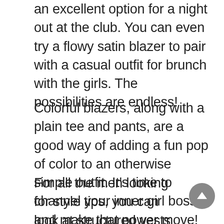an excellent option for a night out at the club. You can even try a flowy satin blazer to pair with a casual outfit for brunch with the girls. The possibilities are endless!
Colorful blazers, along with a plain tee and pants, are a good way of adding a fun pop of color to an otherwise simple outfit. It’s time to channel your inner girl boss and make that power move!
For all the men looking for style tips, you can look at structured vests as a great option to switch it up and accessorize your outfit. There are a plethora of options when it comes to the